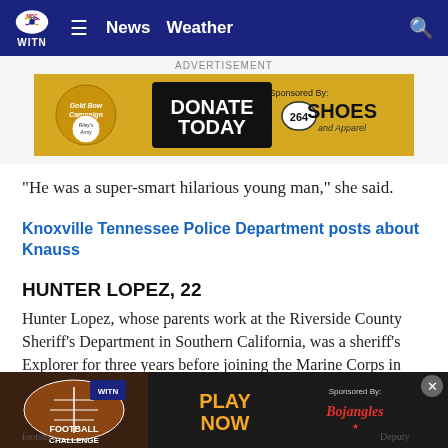WITN News Weather
[Figure (screenshot): Gold Bow Campaign - DONATE TODAY - Sponsored By: 264 SHOES and Apparel advertisement banner]
“He was a super-smart hilarious young man,” she said.
Knoxville Tennessee Police Department posts about Knauss
HUNTER LOPEZ, 22
Hunter Lopez, whose parents work at the Riverside County Sheriff’s Department in Southern California, was a sheriff’s Explorer for three years before joining the Marine Corps in September 2017, Sheriff Chad Bianco said.
Bianco footste Deputy
[Figure (screenshot): WITN Football Challenge - PLAY NOW - Sponsored By: Bojangles advertisement banner]